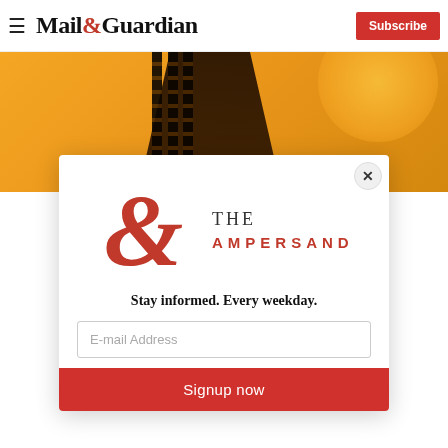Mail&Guardian — Subscribe
[Figure (photo): Background image showing high-heeled shoes against an orange/yellow background]
[Figure (logo): The Ampersand newsletter logo — large red ampersand with 'THE AMPERSAND' text]
Stay informed. Every weekday.
E-mail Address
Signup now